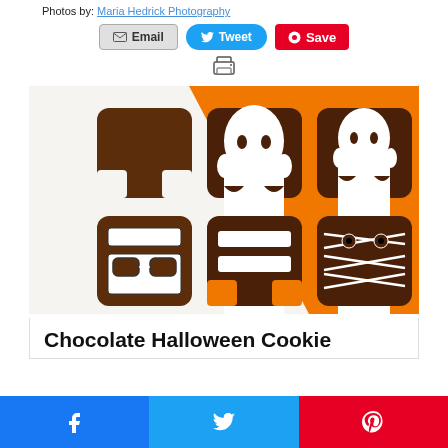Photos by: Maria Hedrick Photography
Email | Tweet | Save
[Figure (photo): Six chocolate Halloween cookies shaped like ghost, mummy and other Halloween characters with white icing decorations, arranged on a white and orange background]
Chocolate Halloween Cookie
Share buttons: Facebook, Twitter, Pinterest